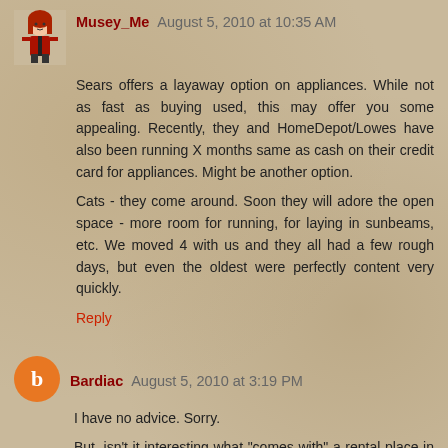Musey_Me August 5, 2010 at 10:35 AM
Sears offers a layaway option on appliances. While not as fast as buying used, this may offer you some appealing. Recently, they and HomeDepot/Lowes have also been running X months same as cash on their credit card for appliances. Might be another option.
Cats - they come around. Soon they will adore the open space - more room for running, for laying in sunbeams, etc. We moved 4 with us and they all had a few rough days, but even the oldest were perfectly content very quickly.
Reply
Bardiac August 5, 2010 at 3:19 PM
I have no advice. Sorry.
But, isn't it interesting what "comes with" a rental place in some parts of the country, and what doesn't?
When I lived in the lower midwest, none of the places I